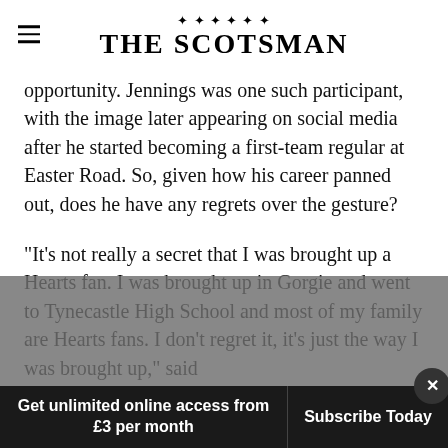THE SCOTSMAN
opportunity. Jennings was one such participant, with the image later appearing on social media after he started becoming a first-team regular at Easter Road. So, given how his career panned out, does he have any regrets over the gesture?
“It’s not really a secret that I was brought up a Hearts fan. I was brought up in Gorgie and went to Tynecastle High School and most of my family are Hearts fans. I don’t regret it, it’s just the way I was brought up,” said
Get unlimited online access from £3 per month | Subscribe Today